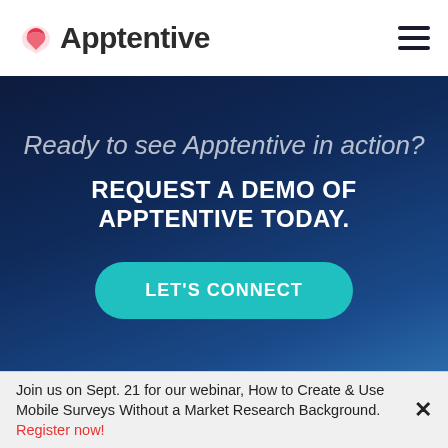Apptentive
Ready to see Apptentive in action?
REQUEST A DEMO OF APPTENTIVE TODAY.
LET'S CONNECT
Join us on Sept. 21 for our webinar, How to Create & Use Mobile Surveys Without a Market Research Background. Register now!